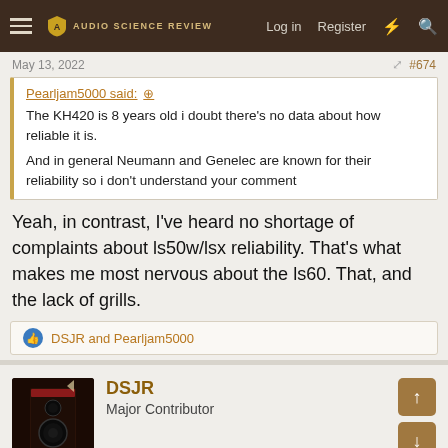Audio Science Review — Log in  Register
May 13, 2022  #674
Pearljam5000 said: ↑
The KH420 is 8 years old i doubt there's no data about how reliable it is.
And in general Neumann and Genelec are known for their reliability so i don't understand your comment
Yeah, in contrast, I've heard no shortage of complaints about ls50w/lsx reliability. That's what makes me most nervous about the ls60. That, and the lack of grills.
👍 DSJR and Pearljam5000
DSJR
Major Contributor
May 13, 2022  #675